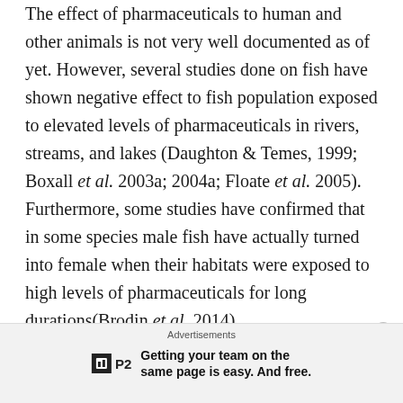The effect of pharmaceuticals to human and other animals is not very well documented as of yet. However, several studies done on fish have shown negative effect to fish population exposed to elevated levels of pharmaceuticals in rivers, streams, and lakes (Daughton & Temes, 1999; Boxall et al. 2003a; 2004a; Floate et al. 2005). Furthermore, some studies have confirmed that in some species male fish have actually turned into female when their habitats were exposed to high levels of pharmaceuticals for long durations(Brodin et al. 2014).
What the low concentrations of pharmaceuticals found
Advertisements
Getting your team on the same page is easy. And free.